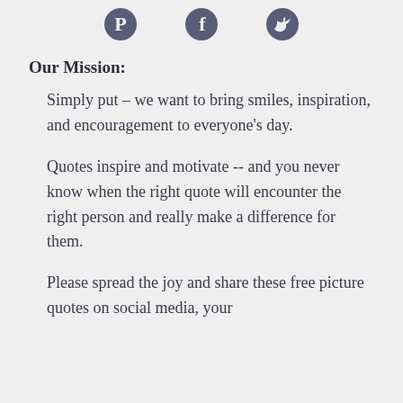[Figure (illustration): Three social media icons: Pinterest, Facebook, and Twitter, displayed in a muted dark purple/slate color, centered horizontally near the top of the page.]
Our Mission:
Simply put – we want to bring smiles, inspiration, and encouragement to everyone's day.
Quotes inspire and motivate -- and you never know when the right quote will encounter the right person and really make a difference for them.
Please spread the joy and share these free picture quotes on social media, your